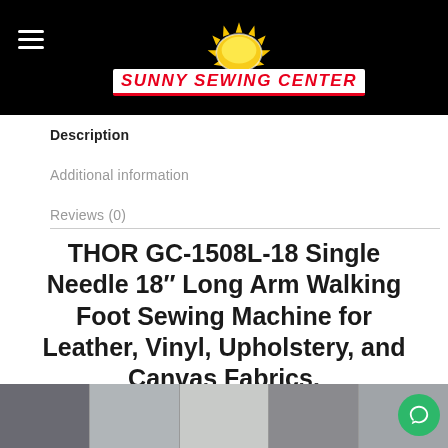Sunny Sewing Center
Description
Additional information
Reviews (0)
THOR GC-1508L-18 Single Needle 18″ Long Arm Walking Foot Sewing Machine for Leather, Vinyl, Upholstery, and Canvas Fabrics.
[Figure (photo): Strip of product photos showing sewing machines]